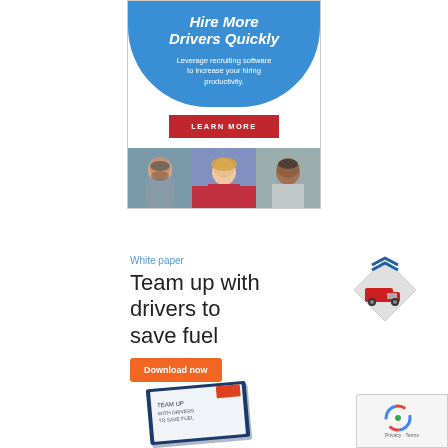[Figure (illustration): Advertisement banner with blue arch background. Headline 'Hire More Drivers Quickly', subtext 'Leverage recruiting software to increase your hiring productivity.', red 'LEARN MORE' button, and three photos of smiling people (drivers) below.]
White paper
Team up with drivers to save fuel
Download now
[Figure (illustration): Truck icon inside a diamond shape with blue chevrons on top, red truck silhouette in the center on white/gray diamond background.]
[Figure (photo): White paper booklet titled 'Team up with drivers to save fuel' with LEANR branding, shown at an angle.]
[Figure (logo): Google reCAPTCHA badge with spinning logo and Privacy/Terms text.]